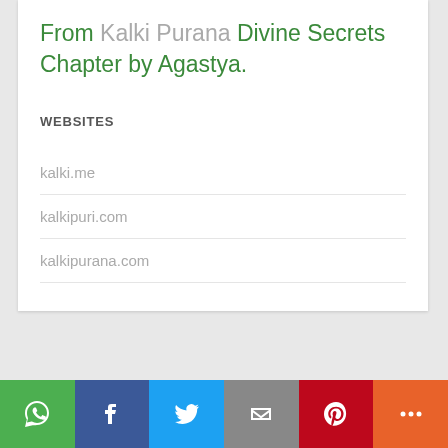From Kalki Purana Divine Secrets Chapter by Agastya.
WEBSITES
kalki.me
kalkipuri.com
kalkipurana.com